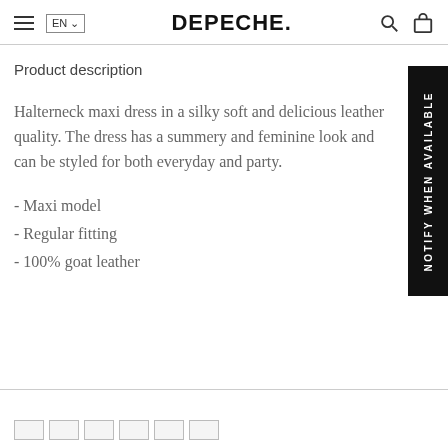DEPECHE.
Product description
Halterneck maxi dress in a silky soft and delicious leather quality. The dress has a summery and feminine look and can be styled for both everyday and party.
- Maxi model
- Regular fitting
- 100% goat leather